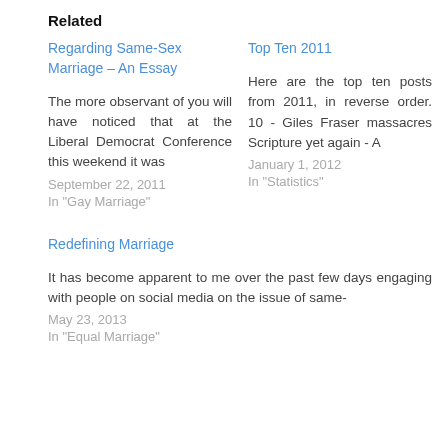Related
Regarding Same-Sex Marriage – An Essay
The more observant of you will have noticed that at the Liberal Democrat Conference this weekend it was
September 22, 2011
In "Gay Marriage"
Top Ten 2011
Here are the top ten posts from 2011, in reverse order. 10 - Giles Fraser massacres Scripture yet again - A
January 1, 2012
In "Statistics"
Redefining Marriage
It has become apparent to me over the past few days engaging with people on social media on the issue of same-
May 23, 2013
In "Equal Marriage"